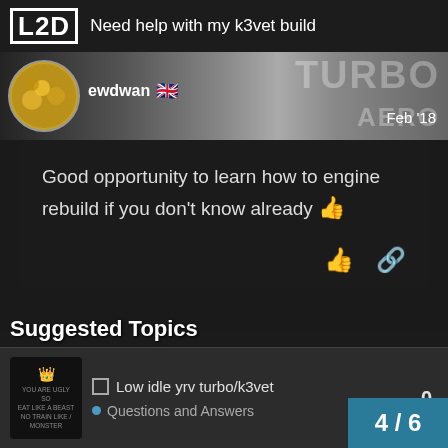L2D  Need help with my k3vet build
ewdwan 🇬🇧  Feb '18
Good opportunity to learn how to engine rebuild if you don't know already 👍
REPLY
Suggested Topics
Low idle yrv turbo/k3vet  0
Questions and Answers  4/6